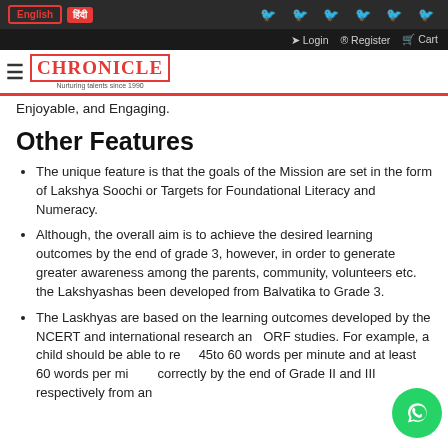English | हिंदी | Login | Register | Cart
[Figure (logo): Chronicle - Nurturing talents since 1990 logo]
Enjoyable, and Engaging.
Other Features
The unique feature is that the goals of the Mission are set in the form of Lakshya Soochi or Targets for Foundational Literacy and Numeracy.
Although, the overall aim is to achieve the desired learning outcomes by the end of grade 3, however, in order to generate greater awareness among the parents, community, volunteers etc. the Lakshyashas been developed from Balvatika to Grade 3.
The Laskhyas are based on the learning outcomes developed by the NCERT and international research and ORF studies. For example, a child should be able to read 45to 60 words per minute and at least 60 words per minute correctly by the end of Grade II and III respectively from an